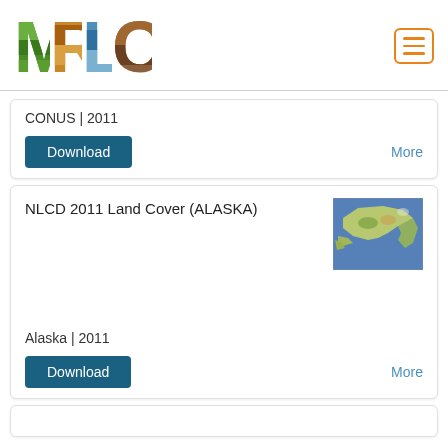[Figure (logo): MRLC logo with colorful nature-themed letters M R L C]
CONUS | 2011
Download
More
NLCD 2011 Land Cover (ALASKA)
[Figure (map): Map thumbnail showing Alaska land cover]
Alaska | 2011
Download
More